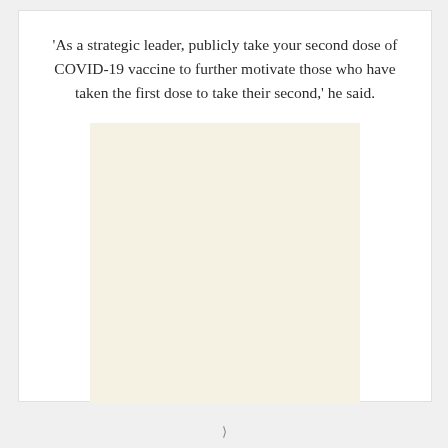'As a strategic leader, publicly take your second dose of COVID-19 vaccine to further motivate those who have taken the first dose to take their second,' he said.
[Figure (photo): A blank/placeholder image with a light cream/beige background color, no visible content.]